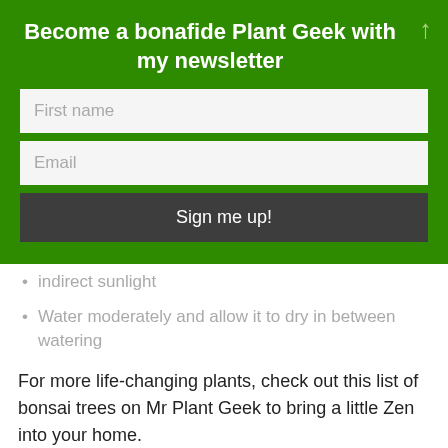Become a bonafide Plant Geek with my newsletter
[Figure (screenshot): Newsletter signup form with First name input, Email input, and Sign me up! button on a green background]
indirect sunlight
Water moderately and allow it to dry in between watering
For more life-changing plants, check out this list of bonsai trees on Mr Plant Geek to bring a little Zen into your home.
share this:
[Figure (screenshot): Social share buttons: Twitter, Facebook, Email]